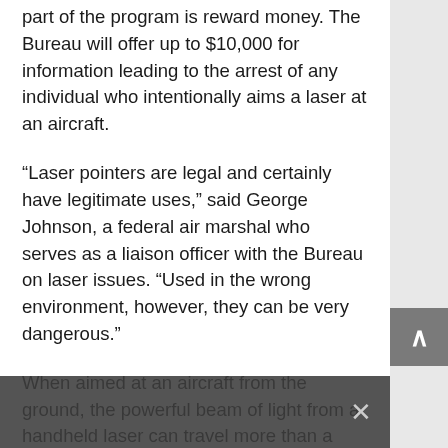part of the program is reward money. The Bureau will offer up to $10,000 for information leading to the arrest of any individual who intentionally aims a laser at an aircraft.
“Laser pointers are legal and certainly have legitimate uses,” said George Johnson, a federal air marshal who serves as a liaison officer with the Bureau on laser issues. “Used in the wrong environment, however, they can be very dangerous.”
When aimed at an aircraft from the ground, the powerful beam of light from a handheld laser can travel more than a mile and illuminate a cockpit, disorienting and temporarily blinding pilots. Those who have been subject to such attacks have described them as the equivalent of a camera flash going off in a pitch-black car at night.